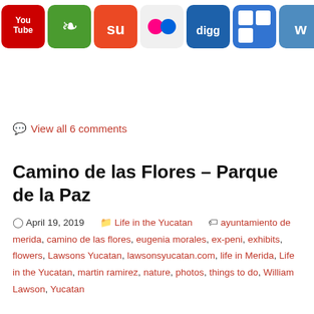[Figure (other): Row of social media sharing icon buttons: YouTube, nature/plant icon, StumbleUpon, Flickr, Digg, Delicious, WordPress, LinkedIn, Reddit, iMessage/chat, Facebook, Twitter, RSS feed]
View all 6 comments
Camino de las Flores – Parque de la Paz
April 19, 2019   Life in the Yucatan   ayuntamiento de merida, camino de las flores, eugenia morales, ex-peni, exhibits, flowers, Lawsons Yucatan, lawsonsyucatan.com, life in Merida, Life in the Yucatan, martin ramirez, nature, photos, things to do, William Lawson, Yucatan